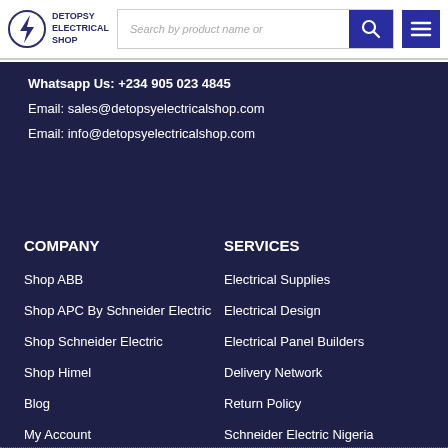[Figure (logo): Detopsy Electrical Shop logo with lightning bolt in circle]
Search by product name or
Whatsapp Us: +234 905 023 4845
Email: sales@detopsyelectricalshop.com
Email: info@detopsyelectricalshop.com
COMPANY
SERVICES
Shop ABB
Electrical Supplies
Shop APC By Schneider Electric
Electrical Design
Shop Schneider Electric
Electrical Panel Builders
Shop Himel
Delivery Network
Blog
Return Policy
My Account
Schneider Electric Nigeria